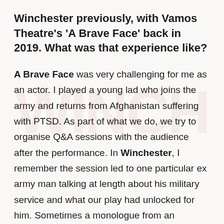Winchester previously, with Vamos Theatre's 'A Brave Face' back in 2019. What was that experience like?
A Brave Face was very challenging for me as an actor. I played a young lad who joins the army and returns from Afghanistan suffering with PTSD. As part of what we do, we try to organise Q&A sessions with the audience after the performance. In Winchester, I remember the session led to one particular ex army man talking at length about his military service and what our play had unlocked for him. Sometimes a monologue from an audience member can be a little frustrating